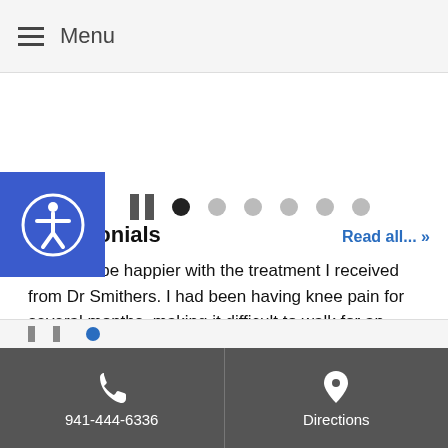Menu
[Figure (other): Accessibility button icon and slideshow controls with pause button and navigation dots]
Testimonials
I couldn't be happier with the treatment I received from Dr Smithers. I had been having knee pain for several months, making it difficult to walk for an extended period of time. I finally decided to have Dr Smithers look at it, and he decided to do prolotherapy. After a
... Read more »
941-444-6336  Directions